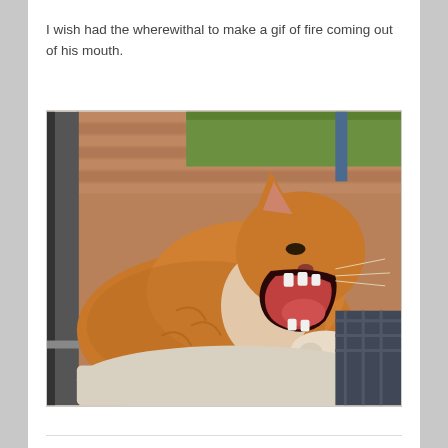I wish had the wherewithal to make a gif of fire coming out of his mouth.
[Figure (photo): An orange tabby cat lying on a white cushion near a glass door/window, mouth wide open in a yawn showing teeth and pink tongue, with a red brick patio and green grass visible outside]